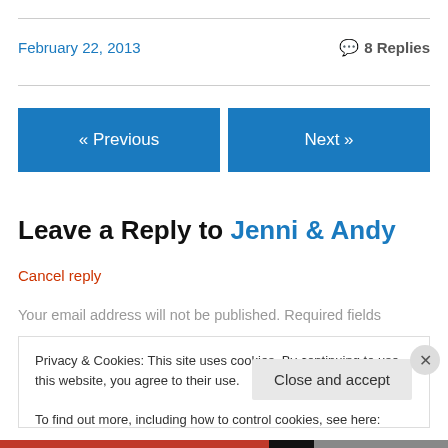February 22, 2013
💬 8 Replies
« Previous
Next »
Leave a Reply to Jenni & Andy
Cancel reply
Your email address will not be published. Required fields
Privacy & Cookies: This site uses cookies. By continuing to use this website, you agree to their use.
To find out more, including how to control cookies, see here: Cookie Policy
Close and accept